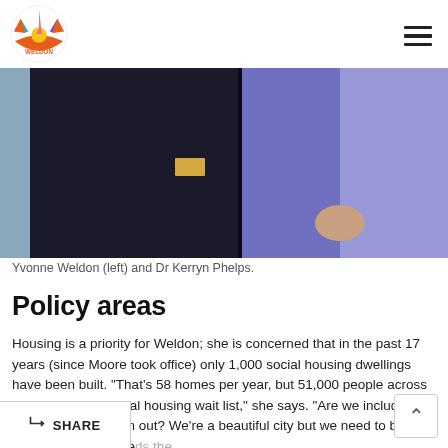Yvonne Weldon
[Figure (photo): Two people standing together: one in a dark jacket with a name badge, the other in a purple/blue jacket. The image is cropped to show the torso area of both individuals.]
Yvonne Weldon (left) and Dr Kerryn Phelps.
Policy areas
Housing is a priority for Weldon; she is concerned that in the past 17 years (since Moore took office) only 1,000 social housing dwellings have been built. "That's 58 homes per year, but 51,000 people across NSW sit on the social housing wait list," she says. "Are we including them or pricing them out? We're a beautiful city but we need to be adaptable to the needs the